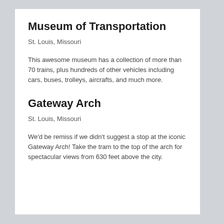Museum of Transportation
St. Louis, Missouri
This awesome museum has a collection of more than 70 trains, plus hundreds of other vehicles including cars, buses, trolleys, aircrafts, and much more.
Gateway Arch
St. Louis, Missouri
We'd be remiss if we didn't suggest a stop at the iconic Gateway Arch! Take the tram to the top of the arch for spectacular views from 630 feet above the city.